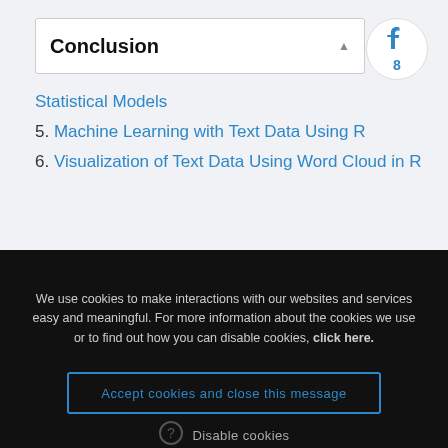Conclusion
Statistical Models
5. Machine Learning with Text Data Using R
6. Visualization of Text Data Using Word Cloud in R
We use cookies to make interactions with our websites and services easy and meaningful. For more information about the cookies we use or to find out how you can disable cookies, click here.
Accept cookies and close this message
Disable cookies